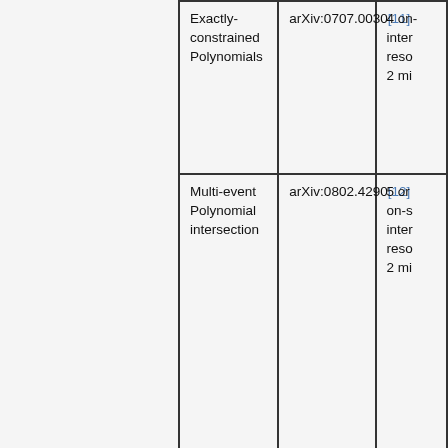| Topic | Reference | Details |
| --- | --- | --- |
| Exactly-constrained Polynomials | arXiv:0707.0030[11] | 4 on inter reso 2 mi |
| Multi-event Polynomial intersection | arXiv:0802.4290[12] | 5 or on-s inter reso 2 mi |
| "Wedgebox" |  |  |